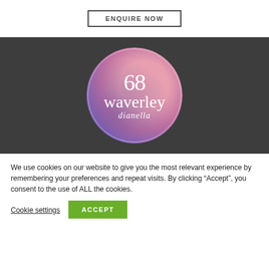[Figure (other): ENQUIRE NOW button with dark border on white background]
[Figure (logo): 68 Waverley Dianella circular logo on dark background, circular gradient in pink/purple tones with white serif text]
We use cookies on our website to give you the most relevant experience by remembering your preferences and repeat visits. By clicking “Accept”, you consent to the use of ALL the cookies.
Cookie settings
ACCEPT